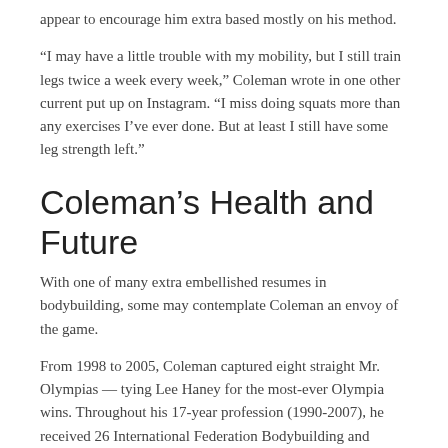appear to encourage him extra based mostly on his method.
“I may have a little trouble with my mobility, but I still train legs twice a week every week,” Coleman wrote in one other current put up on Instagram. “I miss doing squats more than any exercises I’ve ever done. But at least I still have some leg strength left.”
Coleman’s Health and Future
With one of many extra embellished resumes in bodybuilding, some may contemplate Coleman an envoy of the game.
From 1998 to 2005, Coleman captured eight straight Mr. Olympias — tying Lee Haney for the most-ever Olympia wins. Throughout his 17-year profession (1990-2007), he received 26 International Federation Bodybuilding and Fitness (IFBB) competitions. Thanks to a uncommon mixture of power, conditioning, and heavy, difficult lifts, some may even contemplate Coleman the strongest bodybuilder ever.